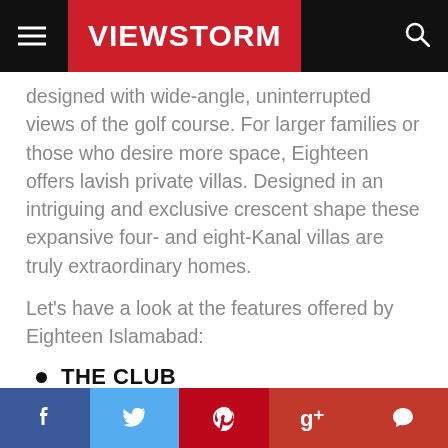VIEWSTORM
designed with wide-angle, uninterrupted views of the golf course. For larger families or those who desire more space, Eighteen offers lavish private villas. Designed in an intriguing and exclusive crescent shape these expansive four- and eight-Kanal villas are truly extraordinary homes.
Let's have a look at the features offered by Eighteen Islamabad:
THE CLUB
The heartbeat of Eighteen Islamabad is the Club, a modernist masterpiece with a central location
f  t  p  g+  chat